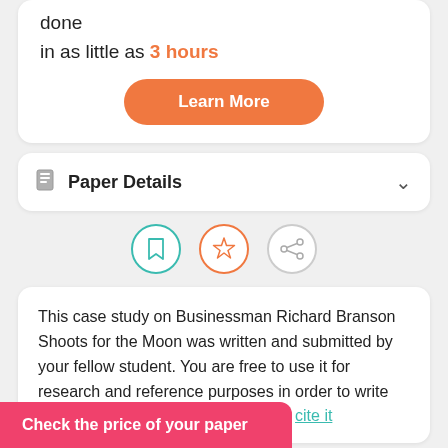done
in as little as 3 hours
Learn More
Paper Details
[Figure (illustration): Three circular icon buttons: bookmark icon (teal border), star icon (orange border), share icon (gray border)]
This case study on Businessman Richard Branson Shoots for the Moon was written and submitted by your fellow student. You are free to use it for research and reference purposes in order to write your own paper; however, you must cite it
Check the price of your paper